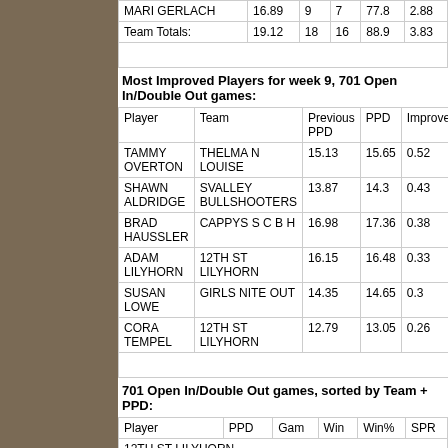| Player | PPD | Gam | Win | Win% | SPR |
| --- | --- | --- | --- | --- | --- |
| MARI GERLACH | 16.89 | 9 | 7 | 77.8 | 2.88 |
| Team Totals: | 19.12 | 18 | 16 | 88.9 | 3.83 |
Most Improved Players for week 9, 701 Open In/Double Out games:
| Player | Team | Previous PPD | PPD | Improvement |
| --- | --- | --- | --- | --- |
| TAMMY OVERTON | THELMA N LOUISE | 15.13 | 15.65 | 0.52 |
| SHAWN ALDRIDGE | SVALLEY BULLSHOOTERS | 13.87 | 14.3 | 0.43 |
| BRAD HAUSSLER | CAPPYS S C B H | 16.98 | 17.36 | 0.38 |
| ADAM LILYHORN | 12TH ST LILYHORN | 16.15 | 16.48 | 0.33 |
| SUSAN LOWE | GIRLS NITE OUT | 14.35 | 14.65 | 0.3 |
| CORA TEMPEL | 12TH ST LILYHORN | 12.79 | 13.05 | 0.26 |
701 Open In/Double Out games, sorted by Team + PPD:
| Player | PPD | Gam | Win | Win% | SPR |
| --- | --- | --- | --- | --- | --- |
| 12TH ST LILYHORN |  |  |  |  |  |
| ADAM LILYHORN | 16.48 | 9 | 4 | 44.4 | 0 |